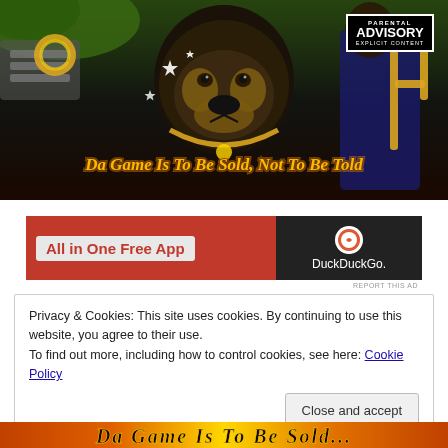[Figure (photo): Album cover for 'Da Game Is To Be Sold, Not To Be Told' featuring a Rottweiler dog with gold chains, a person in a suit, and various bling. Has a Parental Advisory Explicit Content sticker in the top right. Title text in gold italic font at the bottom.]
[Figure (photo): Advertisement banner for DuckDuckGo 'All in One Free App' with red left panel and dark right panel showing DuckDuckGo logo and name.]
REPORT THIS AD
Privacy & Cookies: This site uses cookies. By continuing to use this website, you agree to their use.
To find out more, including how to control cookies, see here: Cookie Policy
Close and accept
[Figure (photo): Partial view of another album cover at the bottom with orange/gold decorative lettering.]